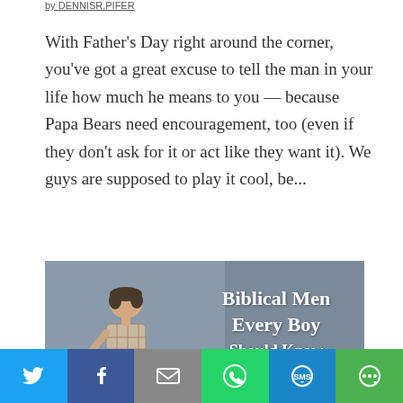by [author name]
With Father's Day right around the corner, you've got a great excuse to tell the man in your life how much he means to you — because Papa Bears need encouragement, too (even if they don't ask for it or act like they want it). We guys are supposed to play it cool, be...
[Figure (illustration): A boy with head bowed holding a lantern, with text overlay reading 'Biblical Men Every Boy Should Know' on a grey/muted background.]
Social share bar: Twitter, Facebook, Email, WhatsApp, SMS, More